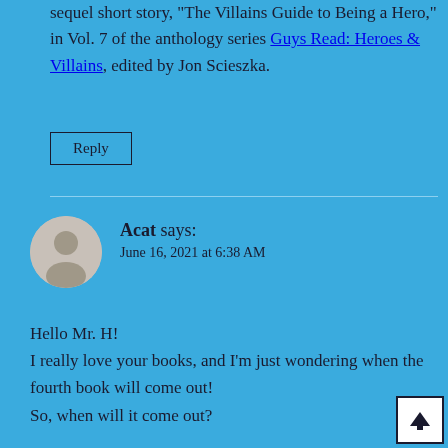sequel short story, "The Villains Guide to Being a Hero," in Vol. 7 of the anthology series Guys Read: Heroes & Villains, edited by Jon Scieszka.
Reply
Acat says:
June 16, 2021 at 6:38 AM
Hello Mr. H!
I really love your books, and I'm just wondering when the fourth book will come out!
So, when will it come out?